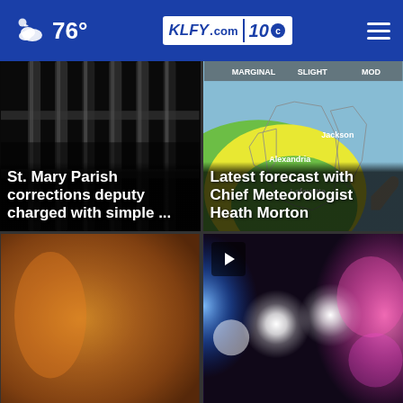76° KLFY.com 10
[Figure (photo): Dark jail bars/cell door with white overlay text about corrections deputy]
St. Mary Parish corrections deputy charged with simple ...
[Figure (photo): Weather forecast map showing severe weather risk zones (marginal, slight, moderate) with locations Alexandria, Jackson, Lafayette labeled]
Latest forecast with Chief Meteorologist Heath Morton
[Figure (photo): Blurry brown/orange background image]
[Figure (photo): Police lights bokeh - bright white and colorful flashing lights, with video play button overlay]